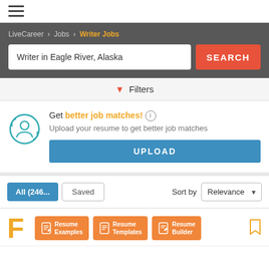[Figure (screenshot): Hamburger menu icon (three horizontal lines)]
LiveCareer > Jobs > Writer Jobs
Writer in Eagle River, Alaska
SEARCH
Filters
Get better job matches! Upload your resume to get better job matches
UPLOAD
All (246... Saved Sort by Relevance
[Figure (screenshot): Job listing preview row with F letter initial and three orange Resume buttons: Resume Examples, Resume Templates, Resume Builder, and a bookmark icon]